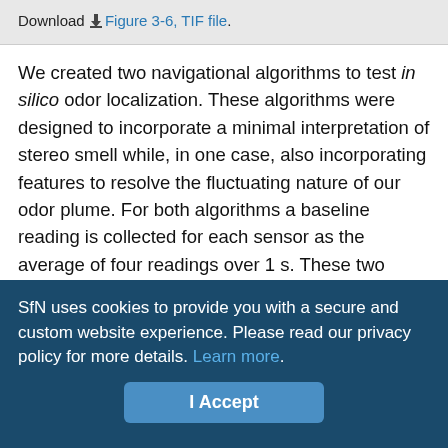Download Figure 3-6, TIF file.
We created two navigational algorithms to test in silico odor localization. These algorithms were designed to incorporate a minimal interpretation of stereo smell while, in one case, also incorporating features to resolve the fluctuating nature of our odor plume. For both algorithms a baseline reading is collected for each sensor as the average of four readings over 1 s. These two baselines are then averaged to be used for odor-based navigation. In the first algorithm, which we refer to as Code A, if the difference between the instantaneous sensor reading at the left sensor and the right sensor, both corrected for the baseline reading, is greater than the threshold (described in Materials and Methods), the model turns
SfN uses cookies to provide you with a secure and custom website experience. Please read our privacy policy for more details. Learn more